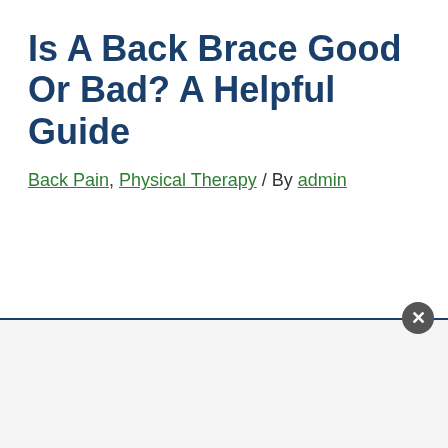Is A Back Brace Good Or Bad? A Helpful Guide
Back Pain, Physical Therapy / By admin